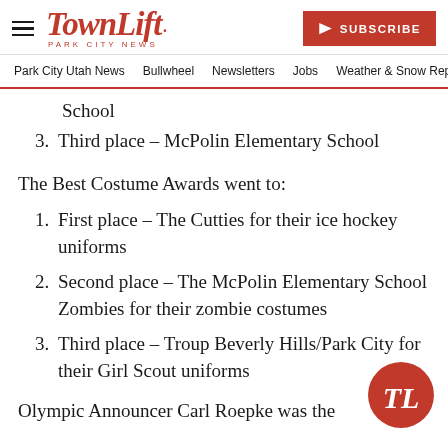TownLift | Park City News — SUBSCRIBE
Park City Utah News | Bullwheel | Newsletters | Jobs | Weather & Snow Rep
School
3. Third place – McPolin Elementary School
The Best Costume Awards went to:
1. First place – The Cutties for their ice hockey uniforms
2. Second place – The McPolin Elementary School Zombies for their zombie costumes
3. Third place – Troup Beverly Hills/Park City for their Girl Scout uniforms
Olympic Announcer Carl Roepke was the